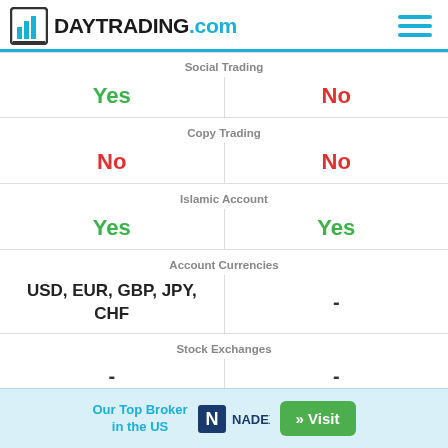DAYTRADING.com
|  |  |
| --- | --- |
| Social Trading |  |
| Yes | No |
| Copy Trading |  |
| No | No |
| Islamic Account |  |
| Yes | Yes |
| Account Currencies |  |
| USD, EUR, GBP, JPY, CHF | - |
| Stock Exchanges |  |
| - | - |
| CFD |  |